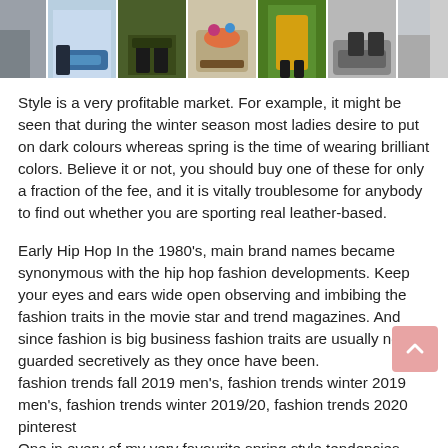[Figure (photo): A horizontal strip of fashion/footwear photos showing various shoes and outfits]
Style is a very profitable market. For example, it might be seen that during the winter season most ladies desire to put on dark colours whereas spring is the time of wearing brilliant colors. Believe it or not, you should buy one of these for only a fraction of the fee, and it is vitally troublesome for anybody to find out whether you are sporting real leather-based.
Early Hip Hop In the 1980's, main brand names became synonymous with the hip hop fashion developments. Keep your eyes and ears wide open observing and imbibing the fashion traits in the movie star and trend magazines. And since fashion is big business fashion traits are usually not guarded secretively as they once have been.
fashion trends fall 2019 men's, fashion trends winter 2019 men's, fashion trends winter 2019/20, fashion trends 2020 pinterest
One in every of my very favourite spring style tendencies